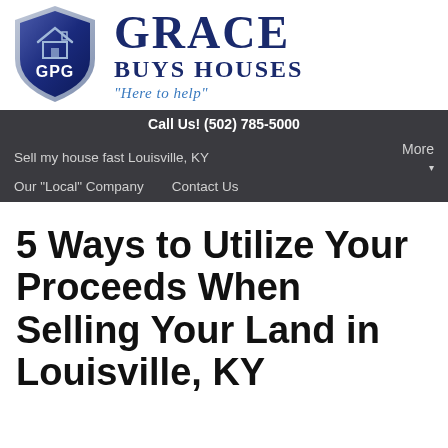[Figure (logo): GPG Grace Buys Houses shield logo with house icon, blue shield with GPG text, beside GRACE BUYS HOUSES brand name and tagline 'Here to help']
Call Us! (502) 785-5000
Sell my house fast Louisville, KY
Our "Local" Company   Contact Us   More
5 Ways to Utilize Your Proceeds When Selling Your Land in Louisville, KY